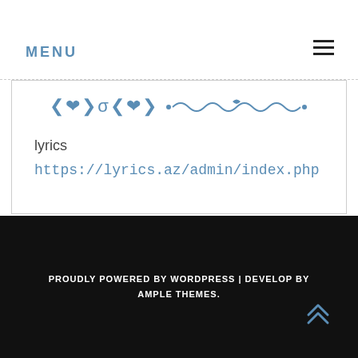MENU
[Figure (illustration): Decorative ornamental divider with scroll/curl design in blue]
lyrics
https://lyrics.az/admin/index.php
PROUDLY POWERED BY WORDPRESS | DEVELOP BY AMPLE THEMES.